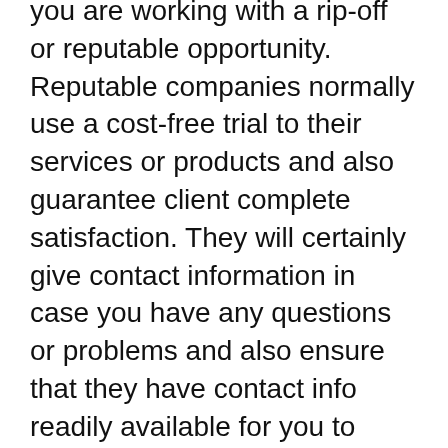you are working with a rip-off or reputable opportunity. Reputable companies normally use a cost-free trial to their services or products and also guarantee client complete satisfaction. They will certainly give contact information in case you have any questions or problems and also ensure that they have contact info readily available for you to reach them any time.
A legitimate web business will supply details concerning exactly how to generate income online and also just how much it will require to start. They will allow you understand ahead of time the amount of work entailed and reveal you some instances to show you exactly how very easy it is to make money online. They will let you learn about frauds